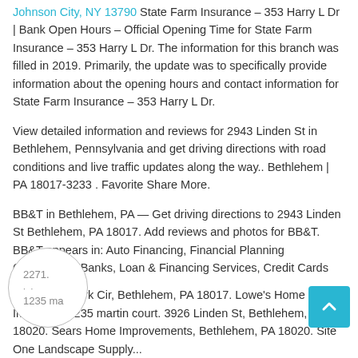Johnson City, NY 13790 State Farm Insurance – 353 Harry L Dr | Bank Open Hours – Official Opening Time for State Farm Insurance – 353 Harry L Dr. The information for this branch was filled in 2019. Primarily, the update was to specifically provide information about the opening hours and contact information for State Farm Insurance – 353 Harry L Dr.
View detailed information and reviews for 2943 Linden St in Bethlehem, Pennsylvania and get driving directions with road conditions and live traffic updates along the way.. Bethlehem | PA 18017-3233 . Favorite Share More.
BB&T in Bethlehem, PA — Get driving directions to 2943 Linden St Bethlehem, PA 18017. Add reviews and photos for BB&T. BB&T appears in: Auto Financing, Financial Planning Consultants, Banks, Loan & Financing Services, Credit Cards
2271. Woodlark Cir, Bethlehem, PA 18017. Lowe's Home Improvements. 1235 martin court. 3926 Linden St, Bethlehem, PA 18020. Sears Home Improvements, Bethlehem, PA 18020. Site One Landscape Supply...